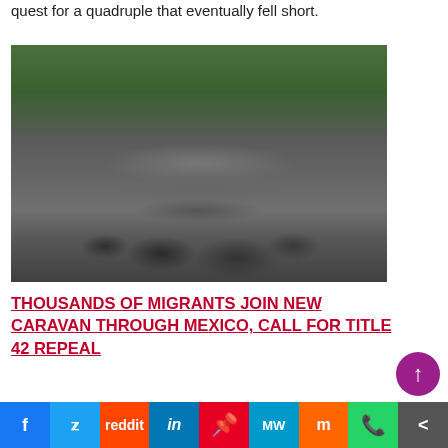quest for a quadruple that eventually fell short.
[Figure (photo): Large crowd of migrants walking along a road through lush green tropical landscape, stretching far into the distance.]
THOUSANDS OF MIGRANTS JOIN NEW CARAVAN THROUGH MEXICO, CALL FOR TITLE 42 REPEAL
While leaders of the Summit of the Americas...